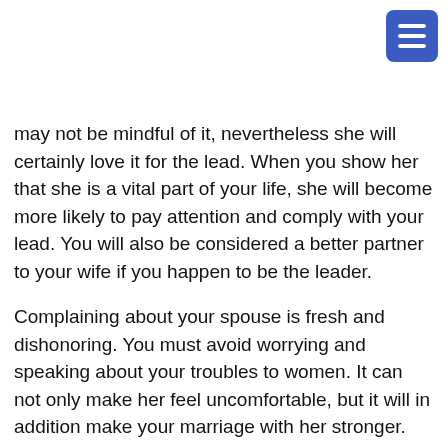may not be mindful of it, nevertheless she will certainly love it for the lead. When you show her that she is a vital part of your life, she will become more likely to pay attention and comply with your lead. You will also be considered a better partner to your wife if you happen to be the leader.
Complaining about your spouse is fresh and dishonoring. You must avoid worrying and speaking about your troubles to women. It can not only make her feel uncomfortable, but it will in addition make your marriage with her stronger. She also wants one to acknowledge her beauty and her really worth. If you cannot demonstrate to her this, it is the perfect time to find other activities together. You should take your wife out on goes, have fun with her friends, and celebrate her birthday with her.